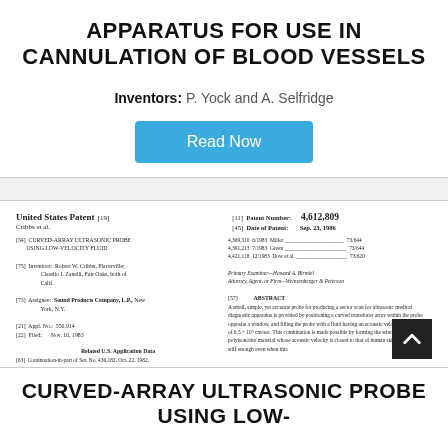APPARATUS FOR USE IN CANNULATION OF BLOOD VESSELS
Inventors: P. Yock and A. Selfridge
[Figure (other): Blue 'Read Now' button]
[Figure (screenshot): Preview image of United States Patent 4,612,809 by Cribbs et al. for CURVED-ARRAY ULTRASONIC PROBE USING LOW-VELOCITY FLUID, dated Sep. 23, 1986. Inventors: Robert W. Cribbs, Placerville; Claudio I. Zanelli, Fair Oaks, both of Calif. Assignee: Sound Products Company, L.P., New York, N.Y. Appl. No.: 550,914. Filed: Nov. 10, 1983. Contains abstract and patent reference details.]
CURVED-ARRAY ULTRASONIC PROBE USING LOW-